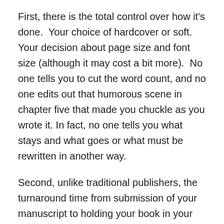First, there is the total control over how it's done. Your choice of hardcover or soft. Your decision about page size and font size (although it may cost a bit more). No one tells you to cut the word count, and no one edits out that humorous scene in chapter five that made you chuckle as you wrote it. In fact, no one tells you what stays and what goes or what must be rewritten in another way.
Second, unlike traditional publishers, the turnaround time from submission of your manuscript to holding your book in your hand or seeing it listed on Amazon is measured in weeks or months rather than a year or more.
Third, you can control your costs by choosing a print on demand publisher, or keeping the initial run small until you're able to generate some demand. Or you can go strictly e-book and keep your costs way down.